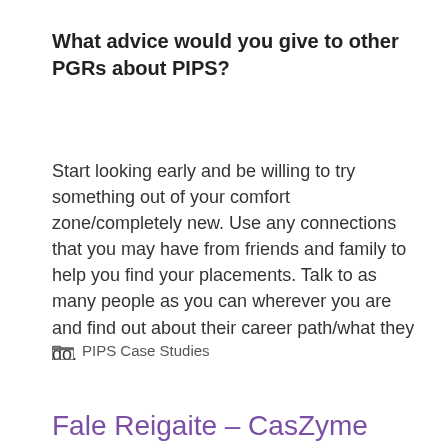What advice would you give to other PGRs about PIPS?
Start looking early and be willing to try something out of your comfort zone/completely new. Use any connections that you may have from friends and family to help you find your placements. Talk to as many people as you can wherever you are and find out about their career path/what they do.
PIPS Case Studies
Fale Reigaite – CasZyme